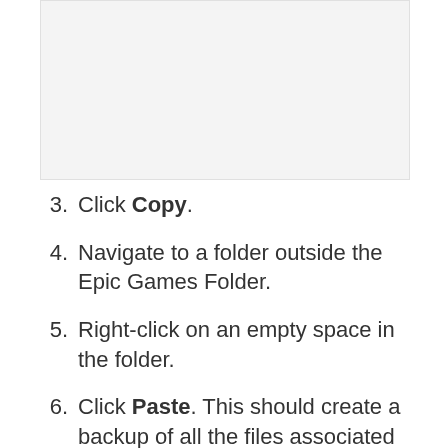[Figure (screenshot): Screenshot or image placeholder at the top of the page, light gray background.]
3. Click Copy.
4. Navigate to a folder outside the Epic Games Folder.
5. Right-click on an empty space in the folder.
6. Click Paste. This should create a backup of all the files associated with the game